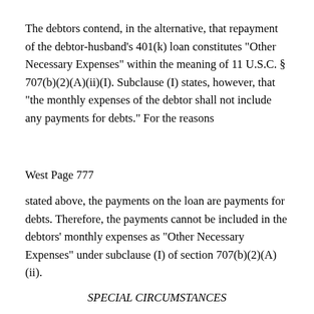The debtors contend, in the alternative, that repayment of the debtor-husband’s 401(k) loan constitutes “Other Necessary Expenses” within the meaning of 11 U.S.C. § 707(b)(2)(A)(ii)(I). Subclause (I) states, however, that “the monthly expenses of the debtor shall not include any payments for debts.” For the reasons
West Page 777
stated above, the payments on the loan are payments for debts. Therefore, the payments cannot be included in the debtors’ monthly expenses as “Other Necessary Expenses” under subclause (I) of section 707(b)(2)(A)(ii).
SPECIAL CIRCUMSTANCES